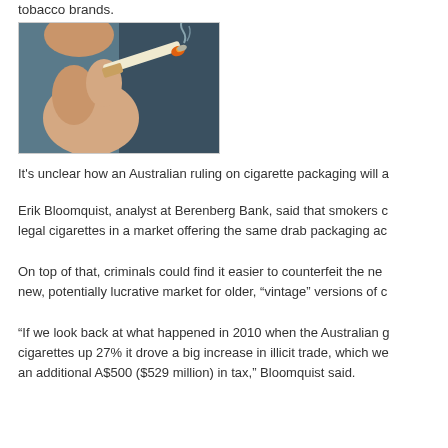tobacco brands.
[Figure (photo): Close-up photo of a person holding a lit cigarette near their mouth, with smoke rising from the tip. The background is dark blue-grey.]
It's unclear how an Australian ruling on cigarette packaging will a
Erik Bloomquist, analyst at Berenberg Bank, said that smokers c legal cigarettes in a market offering the same drab packaging ac
On top of that, criminals could find it easier to counterfeit the ne new, potentially lucrative market for older, “vintage” versions of c
“If we look back at what happened in 2010 when the Australian g cigarettes up 27% it drove a big increase in illicit trade, which we an additional A$500 ($529 million) in tax,” Bloomquist said.